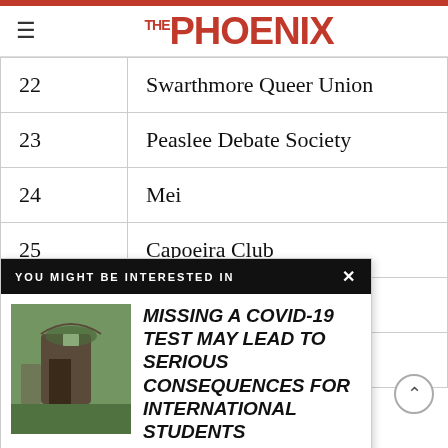THE PHOENIX
| # | Name |
| --- | --- |
| 22 | Swarthmore Queer Union |
| 23 | Peaslee Debate Society |
| 24 | Mei |
| 25 | Capoeira Club |
|  | nce (W+iCS) |
| 30 | SwatVotes |
[Figure (screenshot): YOU MIGHT BE INTERESTED IN popup overlay with article headline 'MISSING A COVID-19 TEST MAY LEAD TO SERIOUS CONSEQUENCES FOR INTERNATIONAL STUDENTS' and a photo of a stone building]
MISSING A COVID-19 TEST MAY LEAD TO SERIOUS CONSEQUENCES FOR INTERNATIONAL STUDENTS
...